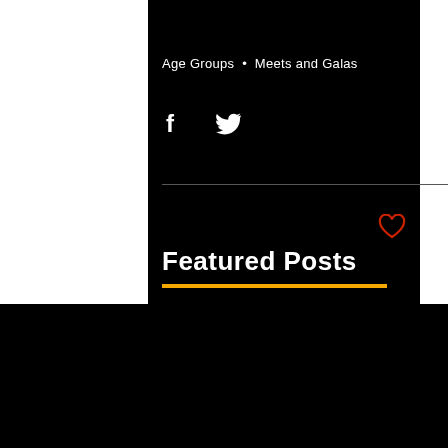Age Groups • Meets and Galas
[Figure (illustration): Facebook and Twitter social share icons in white on black background]
[Figure (illustration): Heart (like) icon in red outline]
Featured Posts
We use cookies on our website to see how you interact with it. By accepting, you agree to our use of such cookies.
Decline All
Accept
Settings